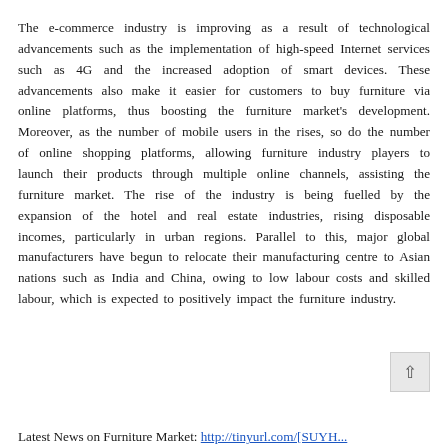The e-commerce industry is improving as a result of technological advancements such as the implementation of high-speed Internet services such as 4G and the increased adoption of smart devices. These advancements also make it easier for customers to buy furniture via online platforms, thus boosting the furniture market's development. Moreover, as the number of mobile users in the rises, so do the number of online shopping platforms, allowing furniture industry players to launch their products through multiple online channels, assisting the furniture market. The rise of the industry is being fuelled by the expansion of the hotel and real estate industries, rising disposable incomes, particularly in urban regions. Parallel to this, major global manufacturers have begun to relocate their manufacturing centre to Asian nations such as India and China, owing to low labour costs and skilled labour, which is expected to positively impact the furniture industry.
Latest News on Furniture Market: http://tinyurl.com/[SUYH...]